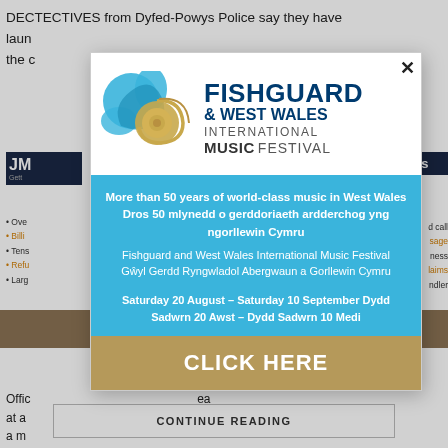DECTECTIVES from Dyfed-Powys Police say they have launched the c
[Figure (advertisement): Fishguard & West Wales International Music Festival popup advertisement with logo, blue info section, and gold click here button]
CONTINUE READING